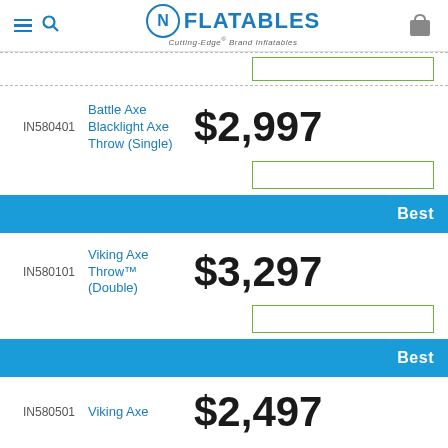NFlatables - Cutting-Edge Brand Inflatables
IN580401
Battle Axe Blacklight Axe Throw (Single)
$2,997
Best
IN580101
Viking Axe Throw™ (Double)
$3,297
Best
IN580501
Viking Axe
$2,497